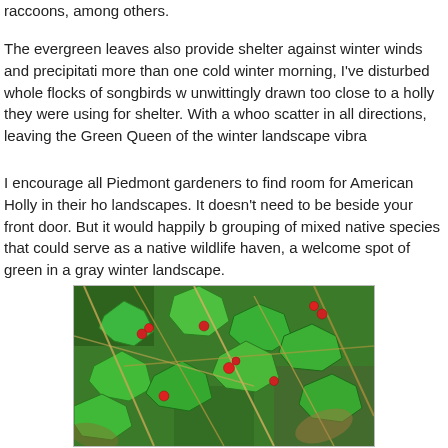raccoons, among others.
The evergreen leaves also provide shelter against winter winds and precipitation. On more than one cold winter morning, I've disturbed whole flocks of songbirds when I unwittingly drawn too close to a holly they were using for shelter. With a whoosh, they scatter in all directions, leaving the Green Queen of the winter landscape vibra
I encourage all Piedmont gardeners to find room for American Holly in their home landscapes. It doesn't need to be beside your front door. But it would happily be in a grouping of mixed native species that could serve as a native wildlife haven, a welcome spot of green in a gray winter landscape.
[Figure (photo): Close-up photograph of American Holly branches with spiky green leaves and small red berries, with dried grasses and some brown leaves in the background.]